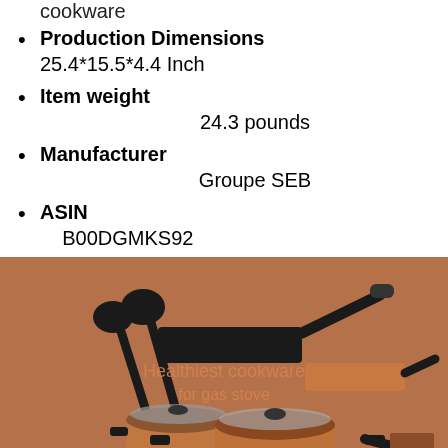cookware
Production Dimensions 25.4*15.5*4.4 Inch
Item weight
24.3 pounds
Manufacturer
Groupe SEB
ASIN
B00DGMKS92
[Figure (photo): A set of copper cookware with black handles on a brown/copper background, including pots with glass lids, frying pans, and kitchen utensils. Overlay text reads 'Healthiest cookware for gas stove'.]
Healthiest cookware for gas stoves